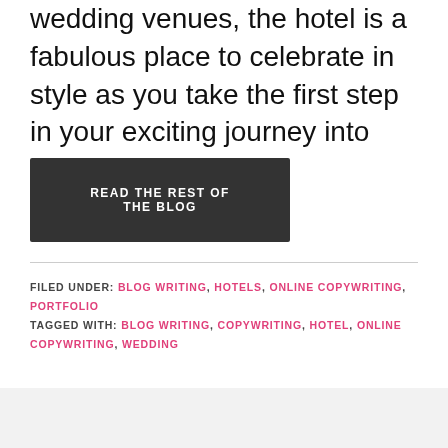wedding venues, the hotel is a fabulous place to celebrate in style as you take the first step in your exciting journey into married life.
READ THE REST OF THE BLOG
FILED UNDER: BLOG WRITING, HOTELS, ONLINE COPYWRITING, PORTFOLIO
TAGGED WITH: BLOG WRITING, COPYWRITING, HOTEL, ONLINE COPYWRITING, WEDDING